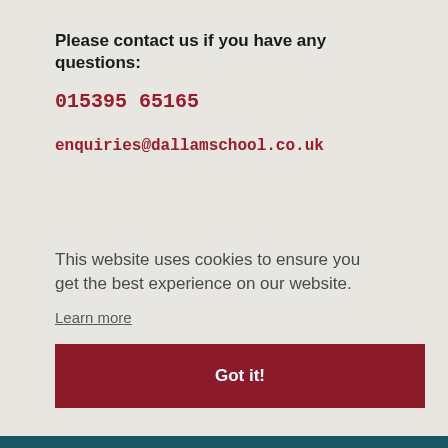Please contact us if you have any questions:
015395 65165
enquiries@dallamschool.co.uk
[Figure (illustration): A white upward-pointing triangle/arrow shape on a light grey background, resembling a scroll-to-top button or decorative element]
This website uses cookies to ensure you get the best experience on our website.
Learn more
Got it!